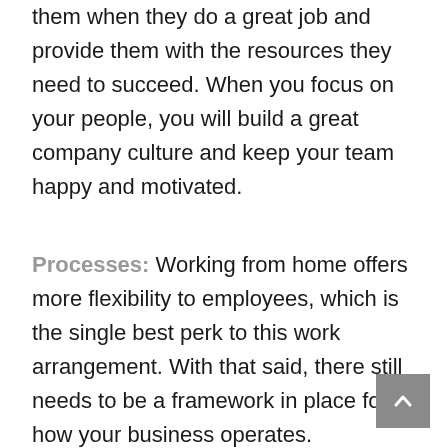them when they do a great job and provide them with the resources they need to succeed. When you focus on your people, you will build a great company culture and keep your team happy and motivated.
Processes: Working from home offers more flexibility to employees, which is the single best perk to this work arrangement. With that said, there still needs to be a framework in place for how your business operates. Establishing remote work company policies ensures everyone is on the same page. Start with a working